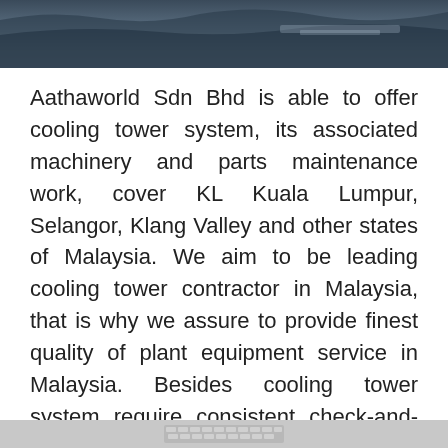[Figure (photo): Dark aerial or industrial landscape photograph used as a banner at the top of the page]
Aathaworld Sdn Bhd is able to offer cooling tower system, its associated machinery and parts maintenance work, cover KL Kuala Lumpur, Selangor, Klang Valley and other states of Malaysia. We aim to be leading cooling tower contractor in Malaysia, that is why we assure to provide finest quality of plant equipment service in Malaysia. Besides cooling tower system require consistent check-and-repair work to safeguard efficiency, mechanical equipment in plant need to have such efforts too; these might include factory manufacturing line or plant operating, functionality testing, plant's machinery, mechanical tu...iler, generator,